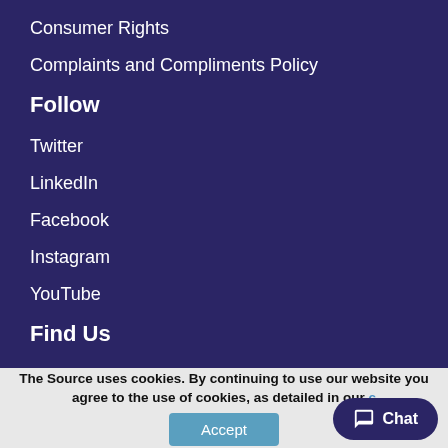Consumer Rights
Complaints and Compliments Policy
Follow
Twitter
LinkedIn
Facebook
Instagram
YouTube
Find Us
The Source Academy
300 Meadowhall Way
Sheffield
The Source uses cookies. By continuing to use our website you agree to the use of cookies, as detailed in our c
Accept
Chat